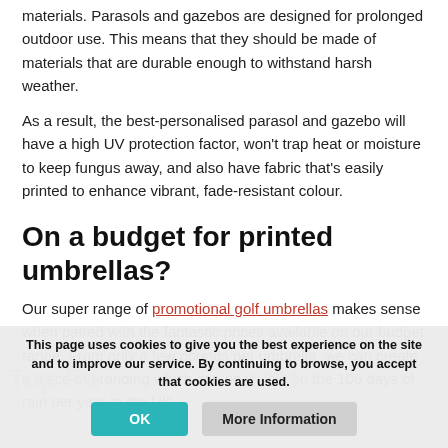materials. Parasols and gazebos are designed for prolonged outdoor use. This means that they should be made of materials that are durable enough to withstand harsh weather.
As a result, the best-personalised parasol and gazebo will have a high UV protection factor, won't trap heat or moisture to keep fungus away, and also have fabric that's easily printed to enhance vibrant, fade-resistant colour.
On a budget for printed umbrellas?
Our super range of promotional golf umbrellas makes sense when paired with the fantastic prices available on our budget range. From only a few pounds per umbrella, we can create a piece of branding which can be visible on the 106 days of rain per year in the UK.
Top Parasols & Gazebos At
This page uses cookies to give you the best experience on the site and to improve our service. By continuing to browse, you accept that cookies are used.